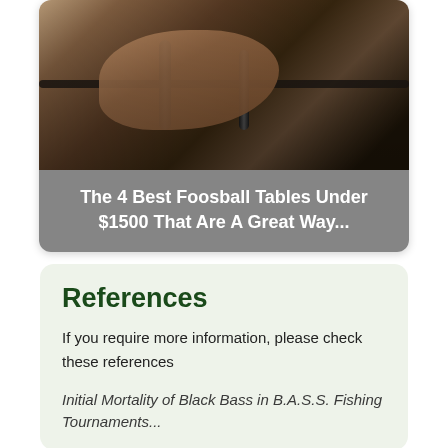[Figure (photo): A close-up photo of a person's hand gripping a foosball table handle, with foosball players visible in the background]
The 4 Best Foosball Tables Under $1500 That Are A Great Way...
References
If you require more information, please check these references
Initial Mortality of Black Bass in B.A.S.S. Fishing Tournaments...